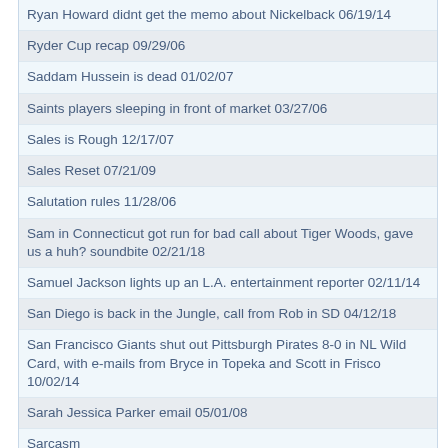Ryan Howard didnt get the memo about Nickelback 06/19/14
Ryder Cup recap 09/29/06
Saddam Hussein is dead 01/02/07
Saints players sleeping in front of market 03/27/06
Sales is Rough 12/17/07
Sales Reset 07/21/09
Salutation rules 11/28/06
Sam in Connecticut got run for bad call about Tiger Woods, gave us a huh? soundbite 02/21/18
Samuel Jackson lights up an L.A. entertainment reporter 02/11/14
San Diego is back in the Jungle, call from Rob in SD 04/12/18
San Francisco Giants shut out Pittsburgh Pirates 8-0 in NL Wild Card, with e-mails from Bryce in Topeka and Scott in Frisco 10/02/14
Sarah Jessica Parker email 05/01/08
Sarcasm
Schilling-Manny 12/01/06
Science proves soccer is most exciting sport 01/05/06
Scott Olsen suspended for insubordination 07/17/07
Scott Pioli hired by Chiefs 01/14/09
Scott Spiezio cut after arrest 02/28/08
Scott Stapp will play Frank Sinatra in a Ronald Reagan movie 12/18/20
Scott Weiland writes open letter to Charlie Weiss 01/10/07